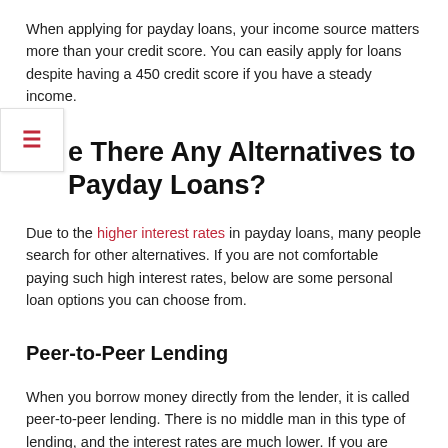When applying for payday loans, your income source matters more than your credit score. You can easily apply for loans despite having a 450 credit score if you have a steady income.
Are There Any Alternatives to Payday Loans?
Due to the higher interest rates in payday loans, many people search for other alternatives. If you are not comfortable paying such high interest rates, below are some personal loan options you can choose from.
Peer-to-Peer Lending
When you borrow money directly from the lender, it is called peer-to-peer lending. There is no middle man in this type of lending, and the interest rates are much lower. If you are unable to afford high interest rates, this is the option for you.